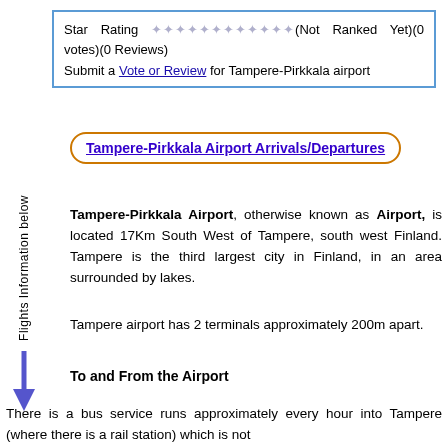Star Rating ✦✦✦✦✦✦✦✦✦✦✦✦ (Not Ranked Yet)(0 votes)(0 Reviews)
Submit a Vote or Review for Tampere-Pirkkala airport
Tampere-Pirkkala Airport Arrivals/Departures
Tampere-Pirkkala Airport, otherwise known as Airport, is located 17Km South West of Tampere, south west Finland. Tampere is the third largest city in Finland, in an area surrounded by lakes.
Tampere airport has 2 terminals approximately 200m apart.
To and From the Airport
There is a bus service runs approximately every hour into Tampere (where there is a rail station) which is not